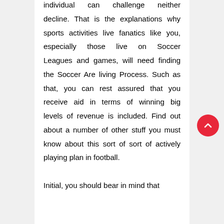individual can challenge neither decline. That is the explanations why sports activities live fanatics like you, especially those live on Soccer Leagues and games, will need finding the Soccer Are living Process. Such as that, you can rest assured that you receive aid in terms of winning big levels of revenue is included. Find out about a number of other stuff you must know about this sort of sort of actively playing plan in football.

Initial, you should bear in mind that